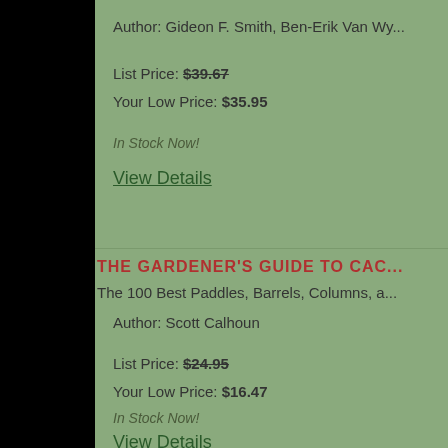Author: Gideon F. Smith, Ben-Erik Van Wy...
List Price: $39.67
Your Low Price: $35.95
In Stock Now!
View Details
THE GARDENER'S GUIDE TO CAC...
The 100 Best Paddles, Barrels, Columns, a...
Author: Scott Calhoun
List Price: $24.95
Your Low Price: $16.47
In Stock Now!
View Details